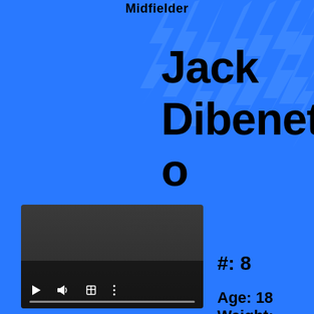Midfielder
Jack Dibenetto
[Figure (screenshot): Video player UI with dark background, play button, volume icon, fullscreen icon, and settings icon, with a progress bar at bottom]
#: 8
Age: 18 Weight: